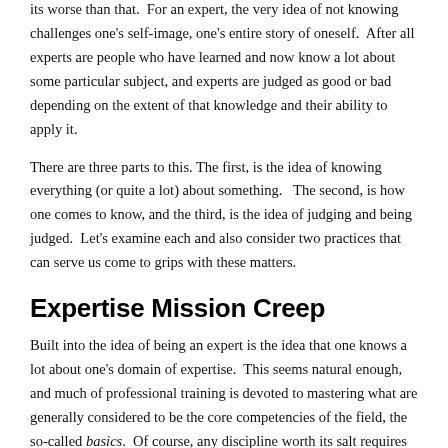its worse than that. For an expert, the very idea of not knowing challenges one's self-image, one's entire story of oneself. After all experts are people who have learned and now know a lot about some particular subject, and experts are judged as good or bad depending on the extent of that knowledge and their ability to apply it.
There are three parts to this. The first, is the idea of knowing everything (or quite a lot) about something. The second, is how one comes to know, and the third, is the idea of judging and being judged. Let's examine each and also consider two practices that can serve us come to grips with these matters.
Expertise Mission Creep
Built into the idea of being an expert is the idea that one knows a lot about one's domain of expertise. This seems natural enough, and much of professional training is devoted to mastering what are generally considered to be the core competencies of the field, the so-called basics. Of course, any discipline worth its salt requires development beyond entry level skill, and herein lies the